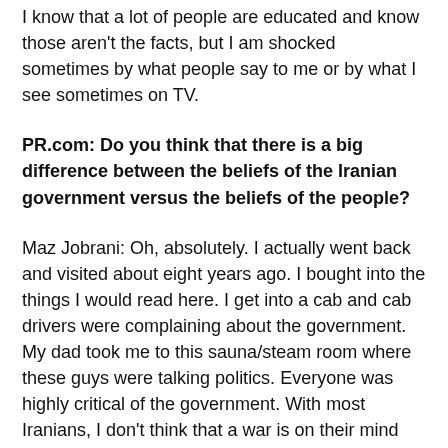I know that a lot of people are educated and know those aren't the facts, but I am shocked sometimes by what people say to me or by what I see sometimes on TV.
PR.com: Do you think that there is a big difference between the beliefs of the Iranian government versus the beliefs of the people?
Maz Jobrani: Oh, absolutely. I actually went back and visited about eight years ago. I bought into the things I would read here. I get into a cab and cab drivers were complaining about the government. My dad took me to this sauna/steam room where these guys were talking politics. Everyone was highly critical of the government. With most Iranians, I don't think that a war is on their mind even though the U.S. is moving navel vessels into the region. I think that most